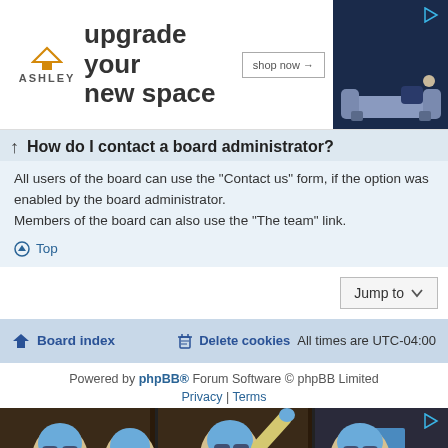[Figure (screenshot): Ashley Furniture advertisement banner: 'upgrade your new space' with shop now button and blue sofa image]
How do I contact a board administrator?
All users of the board can use the "Contact us" form, if the option was enabled by the board administrator.
Members of the board can also use the "The team" link.
Top
Jump to
Board index   Delete cookies   All times are UTC-04:00
Powered by phpBB® Forum Software © phpBB Limited
Privacy | Terms
[Figure (photo): Medical workers in PPE - blue surgical caps, goggles, masks, and yellow gowns posing together]